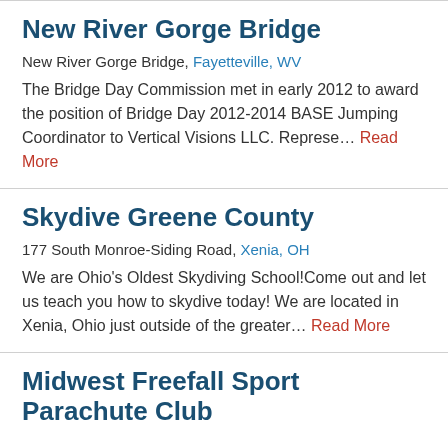New River Gorge Bridge
New River Gorge Bridge, Fayetteville, WV
The Bridge Day Commission met in early 2012 to award the position of Bridge Day 2012-2014 BASE Jumping Coordinator to Vertical Visions LLC. Represe… Read More
Skydive Greene County
177 South Monroe-Siding Road, Xenia, OH
We are Ohio's Oldest Skydiving School!Come out and let us teach you how to skydive today! We are located in Xenia, Ohio just outside of the greater… Read More
Midwest Freefall Sport Parachute Club